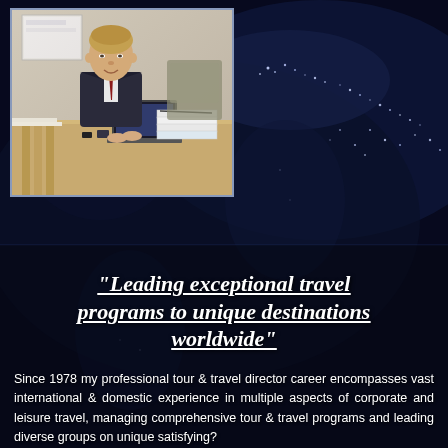[Figure (photo): Night-time world map satellite image used as background covering the full page]
[Figure (photo): Professional man in dark suit sitting at a desk working on a laptop in an office or hotel setting]
"Leading exceptional travel programs to unique destinations worldwide"
Since 1978 my professional tour & travel director career encompasses vast international & domestic experience in multiple aspects of corporate and leisure travel, managing comprehensive tour & travel programs and leading diverse groups on unique satisfying?